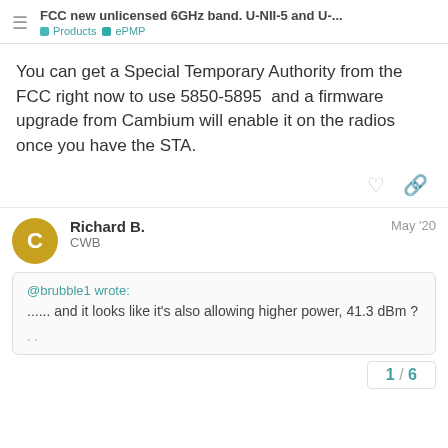FCC new unlicensed 6GHz band. U-NII-5 and U-... | Products > ePMP
You can get a Special Temporary Authority from the FCC right now to use 5850-5895  and a firmware upgrade from Cambium will enable it on the radios once you have the STA.
Richard B.
CWB
May '20
@brubble1 wrote:
...... and it looks like it's also allowing higher power, 41.3 dBm ?
1 / 6